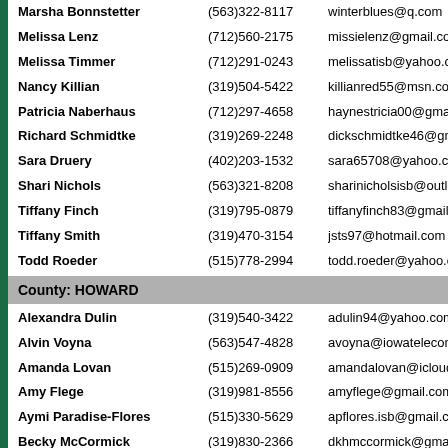Marsha Bonnstetter   (563)322-8117   winterblues@q.com
Melissa Lenz   (712)560-2175   missielenz@gmail.com
Melissa Timmer   (712)291-0243   melissatisb@yahoo.com
Nancy Killian   (319)504-5422   killianred55@msn.com
Patricia Naberhaus   (712)297-4658   haynestricia00@gmail
Richard Schmidtke   (319)269-2248   dickschmidtke46@gm
Sara Druery   (402)203-1532   sara65708@yahoo.com
Shari Nichols   (563)321-8208   sharinicholsisb@outl
Tiffany Finch   (319)795-0879   tiffanyfinch83@gmail.
Tiffany Smith   (319)470-3154   jsts97@hotmail.com
Todd Roeder   (515)778-2994   todd.roeder@yahoo.c
County: HOWARD
Alexandra Dulin   (319)540-3422   adulin94@yahoo.com
Alvin Voyna   (563)547-4828   avoyna@iowatelecom
Amanda Lovan   (515)269-0909   amandalovan@icloud
Amy Flege   (319)981-8556   amyflege@gmail.com
Aymi Paradise-Flores   (515)330-5629   apflores.isb@gmail.co
Becky McCormick   (319)830-2366   dkhmccormick@gmai